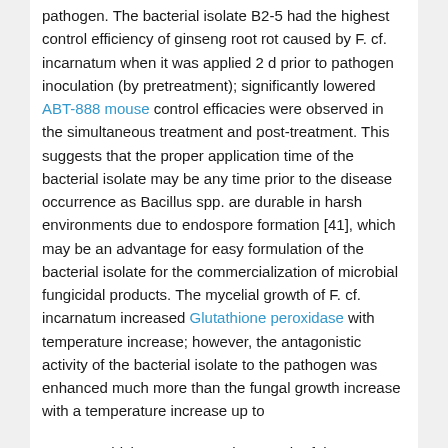pathogen. The bacterial isolate B2-5 had the highest control efficiency of ginseng root rot caused by F. cf. incarnatum when it was applied 2 d prior to pathogen inoculation (by pretreatment); significantly lowered ABT-888 mouse control efficacies were observed in the simultaneous treatment and post-treatment. This suggests that the proper application time of the bacterial isolate may be any time prior to the disease occurrence as Bacillus spp. are durable in harsh environments due to endospore formation [41], which may be an advantage for easy formulation of the bacterial isolate for the commercialization of microbial fungicidal products. The mycelial growth of F. cf. incarnatum increased Glutathione peroxidase with temperature increase; however, the antagonistic activity of the bacterial isolate to the pathogen was enhanced much more than the fungal growth increase with a temperature increase up to
25°C, at which temperature the growth of the pathogen treated with antagonistic bacterium was reduced the most. This suggests that the antagonistic bacterium may exert its full disease control capacity at a range of optimum